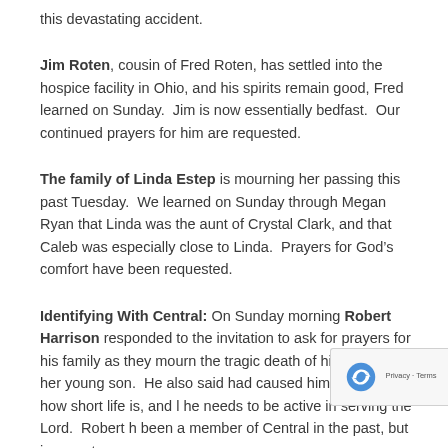this devastating accident.
Jim Roten, cousin of Fred Roten, has settled into the hospice facility in Ohio, and his spirits remain good, Fred learned on Sunday.  Jim is now essentially bedfast.  Our continued prayers for him are requested.
The family of Linda Estep is mourning her passing this past Tuesday.  We learned on Sunday through Megan Ryan that Linda was the aunt of Crystal Clark, and that Caleb was especially close to Linda.  Prayers for God’s comfort have been requested.
Identifying With Central: On Sunday morning Robert Harrison responded to the invitation to ask for prayers for his family as they mourn the tragic death of his niece and her young son.  He also said had caused him to reflect on how short life is, and l he needs to be active in serving the Lord.  Robert h been a member of Central in the past, but in recent